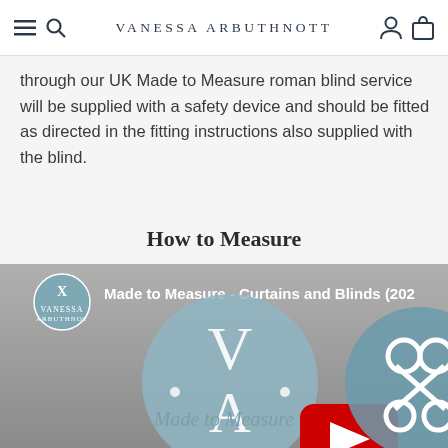VANESSA ARBUTHNOTT
through our UK Made to Measure roman blind service will be supplied with a safety device and should be fitted as directed in the fitting instructions also supplied with the blind.
How to Measure
[Figure (screenshot): YouTube video thumbnail for 'Made to Measure - Curtains and Blinds (202...' showing the Vanessa Arbuthnott logo circle with V and A letters, a YouTube play button in red, and a scissors icon circle on the right, on a grey gradient background.]
Made to Measure